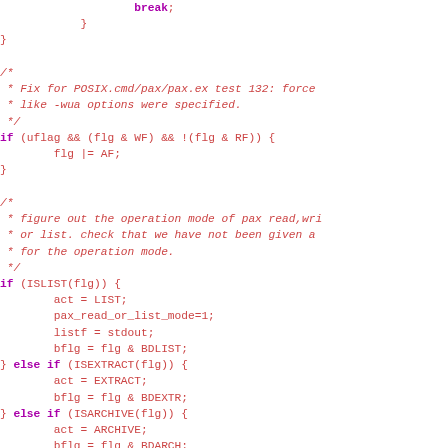Source code (C) showing break statement, closing braces, comments about POSIX.cmd/pax/pax.ex test 132, conditional flag logic, and if/else if blocks for ISLIST, ISEXTRACT, ISARCHIVE, ISAPPND with corresponding act and bflg assignments.